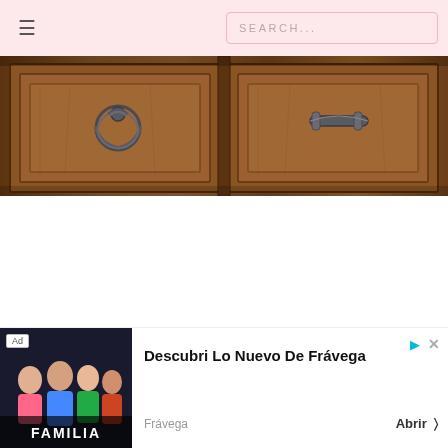≡   SEARCH...
[Figure (photo): Close-up photo of antique wooden chest of drawers with ornate metal handles/pulls on the drawer fronts, warm brown wood grain visible]
[Figure (photo): Advertisement banner: Ad label, image of a family/group of people with text FAMILIA, and text reading 'Descubri Lo Nuevo De Frávega' with source 'Frávega' and call-to-action button 'Abrir >']